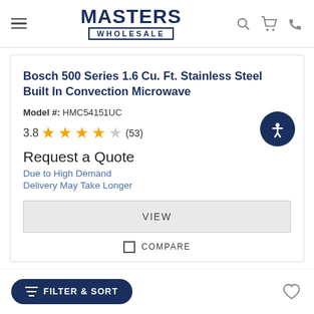Masters Wholesale
Bosch 500 Series 1.6 Cu. Ft. Stainless Steel Built In Convection Microwave
Model #: HMC54151UC
3.8 (53)
Request a Quote
Due to High Demand
Delivery May Take Longer
VIEW
COMPARE
FILTER & SORT